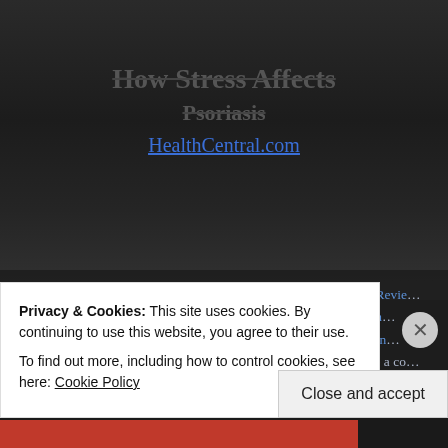[Figure (photo): Dark grayscale background photo of a person lying down, appears to be a black-and-white image with a car or machinery visible]
How Stress Affects Psoriasis
HealthCentral.com
December 27, 2016 | Categories: Book Review, Local Happenings, Reviews | Tags: book boost, book covers, book services, book tours, books, consulting, formatting, Hook of a Book, HookofaBook, Horror, journalism, journalism PR, publicity, Reviews, services, social media, tours, writing | Leave a comment
Privacy & Cookies: This site uses cookies. By continuing to use this website, you agree to their use.
To find out more, including how to control cookies, see here: Cookie Policy